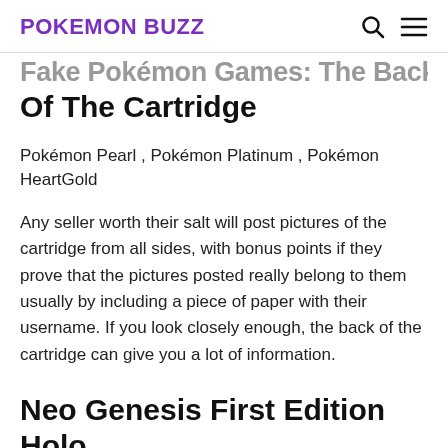POKEMON BUZZ
Fake Pokémon Games: The Back Of The Cartridge
Pokémon Pearl , Pokémon Platinum , Pokémon HeartGold
Any seller worth their salt will post pictures of the cartridge from all sides, with bonus points if they prove that the pictures posted really belong to them usually by including a piece of paper with their username. If you look closely enough, the back of the cartridge can give you a lot of information.
Neo Genesis First Edition Holo